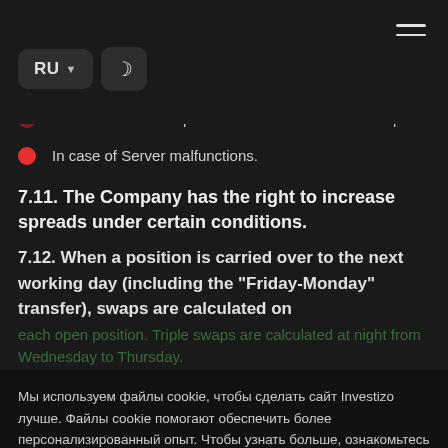RU [language selector] [dark mode toggle] [hamburger menu]
the Client's transaction in the following cases:
The transaction is opened/closed at a Non-market quote
In case of Server malfunctions.
7.11. The Company has the right to increase spreads under certain conditions.
7.12. When a position is carried over to the next working day (including the "Friday-Monday" transfer), swaps are calculated on each open position. Triple swaps are calculated at night from Wednesday to Thursday.
Мы используем файлы cookie, чтобы сделать сайт Investizo лучше. Файлы cookie помогают обеспечить более персонализированный опыт. Чтобы узнать больше, ознакомьтесь с нашей Политикой конфиденциальности.
РАЗРЕШИТЬ КУКИ